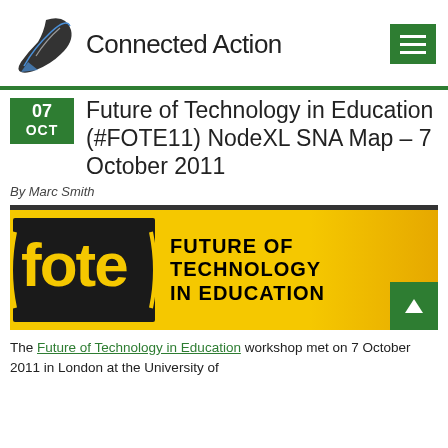[Figure (logo): Connected Action logo with stylized bird/pen icon and text 'Connected Action']
Future of Technology in Education (#FOTE11) NodeXL SNA Map – 7 October 2011
By Marc Smith
[Figure (illustration): FOTE (Future of Technology in Education) banner with yellow background, FOTE logo letters and text 'FUTURE OF TECHNOLOGY IN EDUCATION']
The Future of Technology in Education workshop met on 7 October 2011 in London at the University of